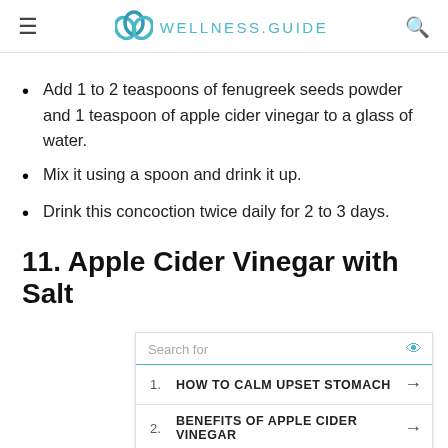WELLNESS.GUIDE
Add 1 to 2 teaspoons of fenugreek seeds powder and 1 teaspoon of apple cider vinegar to a glass of water.
Mix it using a spoon and drink it up.
Drink this concoction twice daily for 2 to 3 days.
11. Apple Cider Vinegar with Salt
[Figure (other): Advertisement widget with search bar and two results: 1. HOW TO CALM UPSET STOMACH, 2. BENEFITS OF APPLE CIDER VINEGAR]